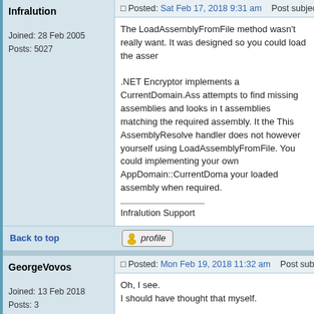Infralution
Joined: 28 Feb 2005
Posts: 5027
Posted: Sat Feb 17, 2018 9:31 am   Post subject:
The LoadAssemblyFromFile method wasn't really want. It was designed so you could load the asser

.NET Encryptor implements a CurrentDomain.Ass attempts to find missing assemblies and looks in t assemblies matching the required assembly. It the This AssemblyResolve handler does not however yourself using LoadAssemblyFromFile. You could implementing your own AppDomain::CurrentDoma your loaded assembly when required.

Infralution Support
Back to top
profile
GeorgeVovos
Joined: 13 Feb 2018
Posts: 3
Posted: Mon Feb 19, 2018 11:32 am   Post subject:
Oh, I see.
I should have thought that myself.

Handling the CurrentDomain_AssemblyResolve e return the correct Assembly solved my problem

Thanks.